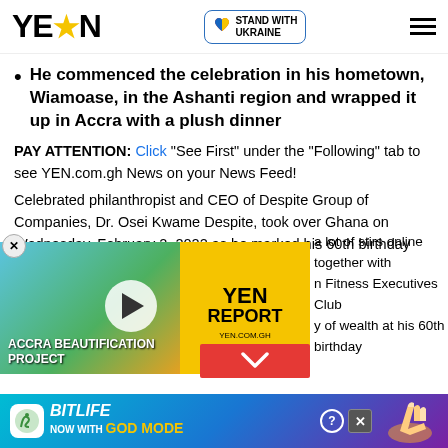YEN ★ | STAND WITH UKRAINE
He commenced the celebration in his hometown, Wiamoase, in the Ashanti region and wrapped it up in Accra with a plush dinner
PAY ATTENTION: Click "See First" under the "Following" tab to see YEN.com.gh News on your News Feed!
Celebrated philanthropist and CEO of Despite Group of Companies, Dr. Osei Kwame Despite, took over Ghana on Wednesday, February 2, 2022 as he marked his 60th birthday with a lots of activities that made headlines.
[Figure (screenshot): YEN Report video player overlay showing Accra Beautification Project mural with play button, and YEN Report badge in yellow]
a lot of stirs online together with Fitness Executives Club y of wealth at his 60th birthday
[Figure (screenshot): BitLife advertisement banner with 'NOW WITH GOD MODE' text and hand pointing illustration]